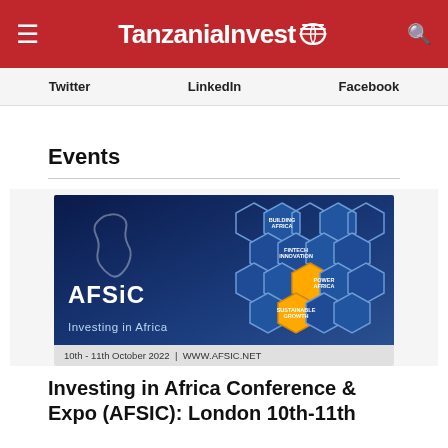TanzaniaInvest
Twitter  LinkedIn  Facebook
Events
[Figure (photo): AFSIC – Investing in Africa conference banner showing hexagonal grid design with Africa silhouette, dated 10th - 11th October 2022, WWW.AFSIC.NET]
Investing in Africa Conference & Expo (AFSIC): London 10th-11th